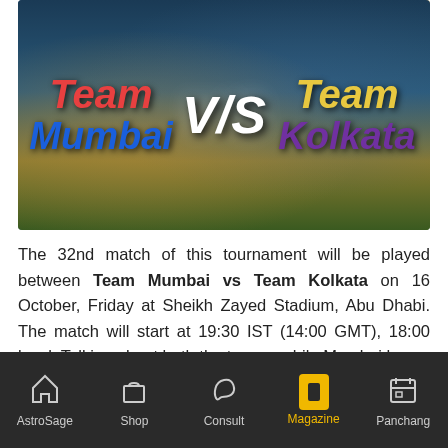[Figure (infographic): Team Mumbai vs Team Kolkata banner image. Left side shows 'Team' in red italic and 'Mumbai' in blue italic. Center shows 'V/S' in white bold italic. Right side shows 'Team' in yellow italic and 'Kolkata' in purple italic. Background is a stylized map/cricket field image.]
The 32nd match of this tournament will be played between Team Mumbai vs Team Kolkata on 16 October, Friday at Sheikh Zayed Stadium, Abu Dhabi. The match will start at 19:30 IST (14:00 GMT), 18:00 local. Talking about both the teams, while Mumbai has
AstroSage   Shop   Consult   Magazine   Panchang